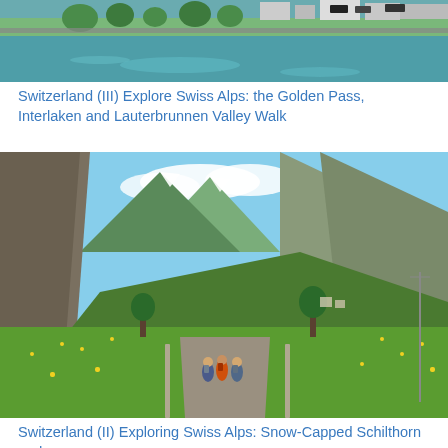[Figure (photo): Aerial or elevated view of a turquoise lake/river with a road and tree-lined bank, buildings visible in background]
Switzerland (III) Explore Swiss Alps: the Golden Pass, Interlaken and Lauterbrunnen Valley Walk
[Figure (photo): Three hikers walking on a path through a green valley with yellow wildflowers, steep rocky cliffs on the left, snow-capped mountains in background]
Switzerland (II) Exploring Swiss Alps: Snow-Capped Schilthorn and